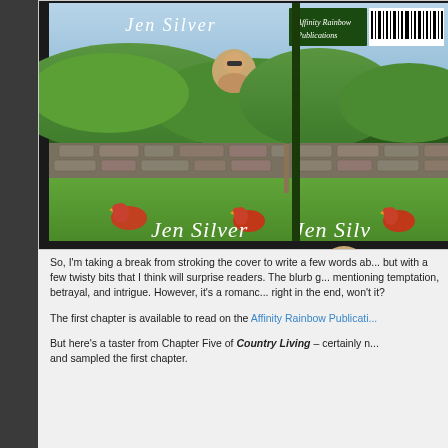[Figure (photo): Photo of multiple copies of a book with cover showing 'Jen Silver' title, featuring a rural countryside scene with stone walls, chickens, green hills, and an author photo. Books are stacked/overlapping showing front cover and spine.]
So, I'm taking a break from stroking the cover to write a few words about it — but with a few twisty bits that I think will surprise readers. The blurb goes into it — mentioning temptation, betrayal, and intrigue. However, it's a romance, so it'll come right in the end, won't it?
The first chapter is available to read on the Affinity Rainbow Publicati...
But here's a taster from Chapter Five of Country Living – certainly n... and sampled the first chapter.